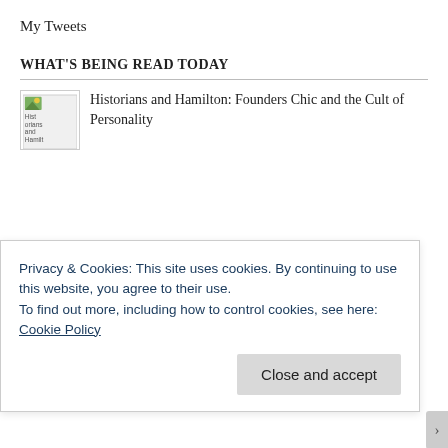My Tweets
WHAT'S BEING READ TODAY
Historians and Hamilton: Founders Chic and the Cult of Personality
Privacy & Cookies: This site uses cookies. By continuing to use this website, you agree to their use.
To find out more, including how to control cookies, see here: Cookie Policy
Close and accept